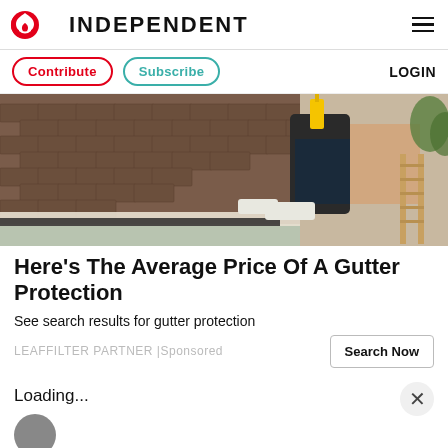INDEPENDENT
[Figure (screenshot): Navigation bar with Contribute and Subscribe buttons and LOGIN link]
[Figure (photo): A worker installing or cleaning gutters on a residential rooftop with brown shingles, wearing work gear and gloves]
Here's The Average Price Of A Gutter Protection
See search results for gutter protection
LEAFFILTER PARTNER | Sponsored
Loading...